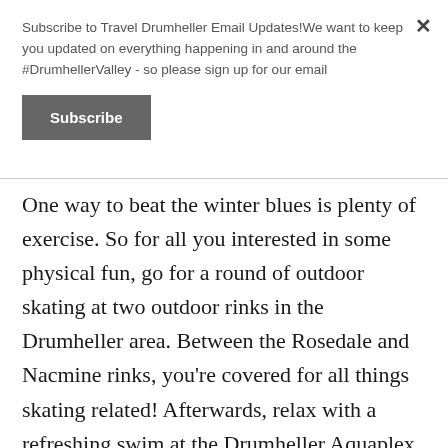Subscribe to Travel Drumheller Email Updates!We want to keep you updated on everything happening in and around the #DrumhellerValley - so please sign up for our email
Subscribe
One way to beat the winter blues is plenty of exercise. So for all you interested in some physical fun, go for a round of outdoor skating at two outdoor rinks in the Drumheller area. Between the Rosedale and Nacmine rinks, you’re covered for all things skating related! Afterwards, relax with a refreshing swim at the Drumheller Aquaplex. It’s a massive facility and trust us when we say there’s enough programming and swim activities to keep you occupied all winter long.